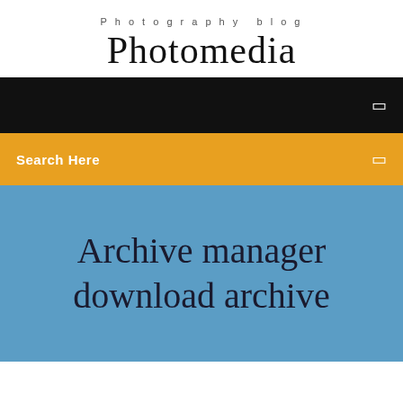Photography blog
Photomedia
Search Here
Archive manager download archive